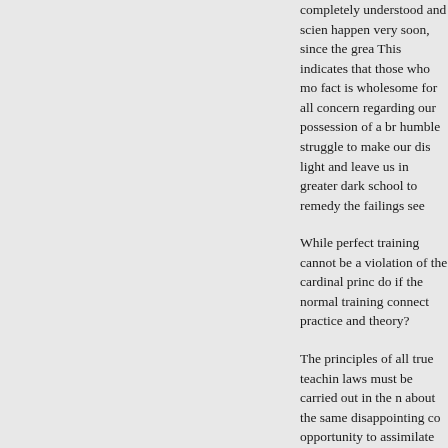completely understood and scien happen very soon, since the grea This indicates that those who mo fact is wholesome for all concern regarding our possession of a br humble struggle to make our dis light and leave us in greater dark school to remedy the failings see
While perfect training cannot be a violation of the cardinal princ do if the normal training connect practice and theory?
The principles of all true teachin laws must be carried out in the n about the same disappointing co opportunity to assimilate through impossibility. Practice is the basi with daily experimenting, fifteen offer is made to graduate a kinde as shall make his prophetic visio
Only effort and failure, repeated extremes found in developing a h sided — as Freebel expresses i